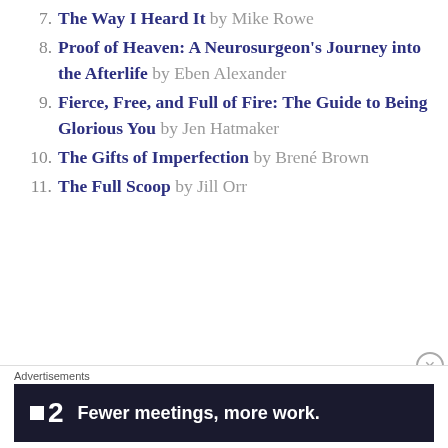7. The Way I Heard It by Mike Rowe
8. Proof of Heaven: A Neurosurgeon's Journey into the Afterlife by Eben Alexander
9. Fierce, Free, and Full of Fire: The Guide to Being Glorious You by Jen Hatmaker
10. The Gifts of Imperfection by Brené Brown
11. The Full Scoop by Jill Orr
Advertisements
[Figure (other): Advertisement banner: P2 logo with text 'Fewer meetings, more work.']